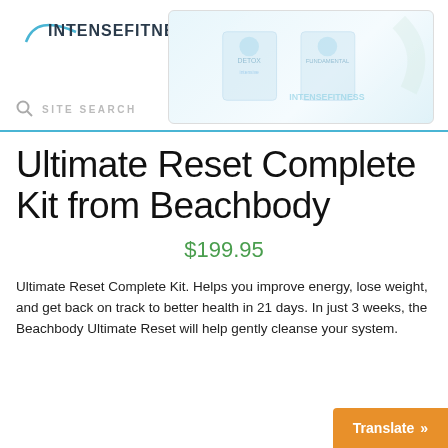INTENSEFITNESS
[Figure (screenshot): Website header with IntenseFitness logo, site search bar, hamburger menu icon, and product image area showing Beachbody Ultimate Reset kit packaging]
Ultimate Reset Complete Kit from Beachbody
$199.95
Ultimate Reset Complete Kit. Helps you improve energy, lose weight, and get back on track to better health in 21 days. In just 3 weeks, the Beachbody Ultimate Reset will help gently cleanse your system.